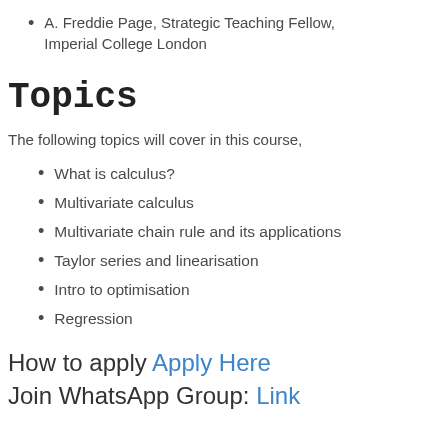A. Freddie Page, Strategic Teaching Fellow, Imperial College London
Topics
The following topics will cover in this course,
What is calculus?
Multivariate calculus
Multivariate chain rule and its applications
Taylor series and linearisation
Intro to optimisation
Regression
How to apply Apply Here
Join WhatsApp Group: Link